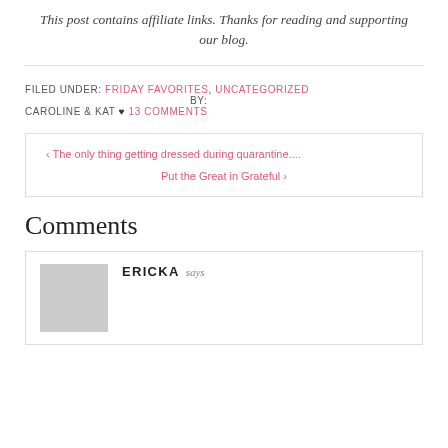This post contains affiliate links. Thanks for reading and supporting our blog.
FILED UNDER: FRIDAY FAVORITES, UNCATEGORIZED  BY: CAROLINE & KAT ♥ 13 COMMENTS
‹ The only thing getting dressed during quarantine....
Put the Great in Grateful ›
Comments
ERICKA says